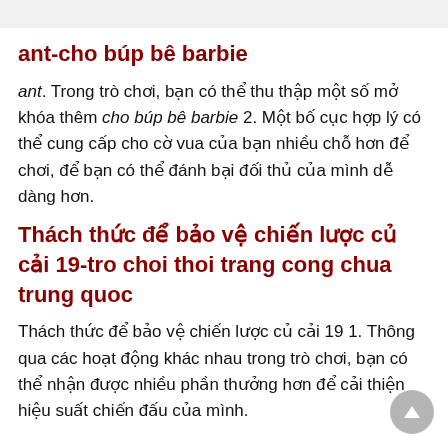ant-cho búp bê barbie
ant. Trong trò chơi, bạn có thể thu thập một số mở khóa thêm cho búp bê barbie 2. Một bố cục hợp lý có thể cung cấp cho cờ vua của bạn nhiều chỗ hơn để chơi, để bạn có thể đánh bại đối thủ của mình dễ dàng hơn.
Thách thức để bảo vệ chiến lược củ cải 19-tro choi thoi trang cong chua trung quoc
Thách thức để bảo vệ chiến lược củ cải 19 1. Thông qua các hoạt động khác nhau trong trò chơi, bạn có thể nhận được nhiều phần thưởng hơn để cải thiện hiệu suất chiến đấu của mình.